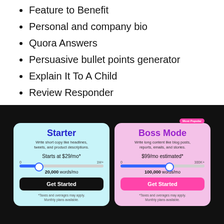Feature to Benefit
Personal and company bio
Quora Answers
Persuasive bullet points generator
Explain It To A Child
Review Responder
[Figure (infographic): Pricing cards for two plans on dark background. Starter plan (light blue card): Write short copy like headlines, tweets, and product descriptions. Starts at $29/mo*. Slider from 0 to 1M+, set at 20,000 words/mo. Get Started button (black). Boss Mode plan (pink card, Most Popular badge): Write long content like blog posts, reports, emails, and stories. $99/mo estimated*. Slider from 0 to 300K+, set at 100,000 words/mo. Get Started button (pink). Both cards show: *Taxes and overages may apply. Monthly plans available.]